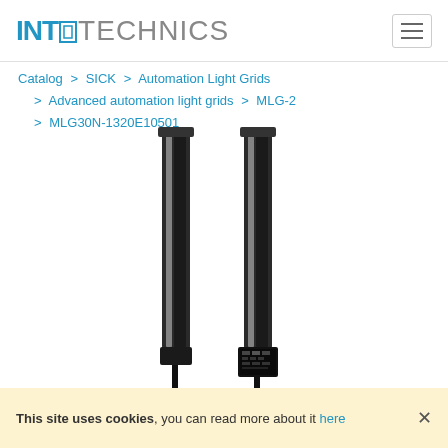INT-TECHNICS
Catalog > SICK > Automation Light Grids > Advanced automation light grids > MLG-2 > MLG30N-1320E10501
[Figure (photo): Two SICK MLG-2 automation light grid sensor bars (transmitter and receiver), tall black elongated units with silver trim and cable connections at the base with a control box attached.]
This site uses cookies, you can read more about it here